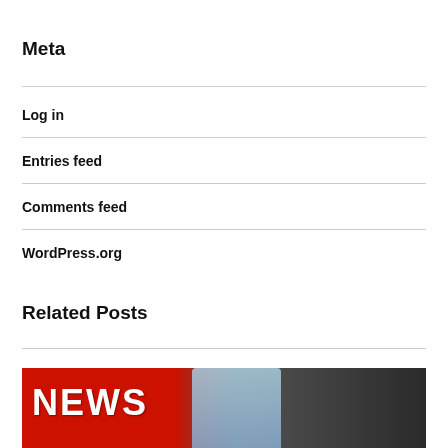Meta
Log in
Entries feed
Comments feed
WordPress.org
Related Posts
[Figure (photo): A close-up photo of a red banner with 'NEWS' text in white, alongside what appears to be a smartphone or tablet, against a dark background.]